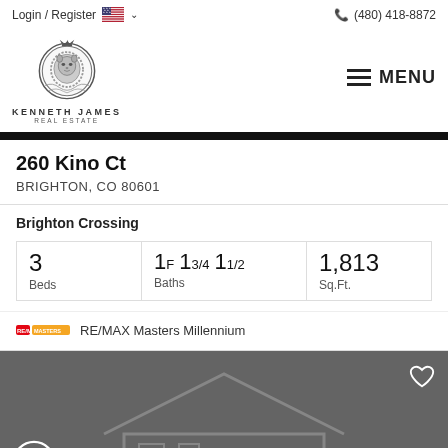Login / Register  (480) 418-8872
[Figure (logo): Kenneth James Real Estate logo — lion crest in circle with crown, ornate scrollwork]
260 Kino Ct
BRIGHTON, CO 80601
Brighton Crossing
| Beds | Baths | Sq.Ft. |
| --- | --- | --- |
| 3 | 1F  13/4  11/2 | 1,813 |
RE/MAX Masters Millennium
[Figure (photo): Dark gray placeholder area with faint outline of a house, heart icon top-right, wheelchair accessibility icon bottom-left]